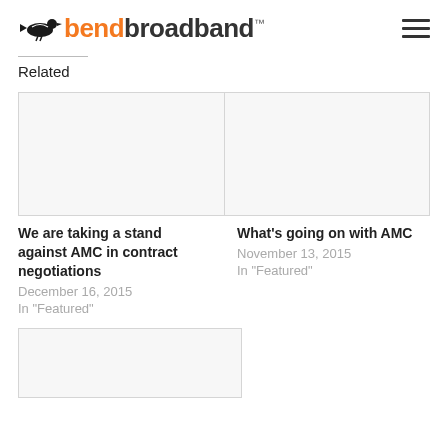bendbroadband
Related
[Figure (photo): Two blank image placeholders side by side for related articles]
We are taking a stand against AMC in contract negotiations
December 16, 2015
In "Featured"
What's going on with AMC
November 13, 2015
In "Featured"
[Figure (photo): Single blank image placeholder for a third related article]